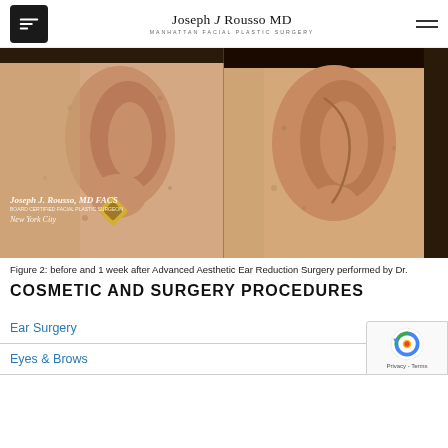Joseph J Rousso MD — Manhattan Facial Plastic Surgery
[Figure (photo): Before and after side-by-side close-up photos of a patient's ear showing results of Advanced Aesthetic Ear Reduction Surgery. Left photo shows before with earring visible and watermark 'Joseph J. Rousso, MD FACS / New York City'. Right photo shows after, one week post-surgery.]
Figure 2: before and 1 week after Advanced Aesthetic Ear Reduction Surgery performed by Dr.
COSMETIC AND SURGERY PROCEDURES
Ear Surgery
Eyes & Brows